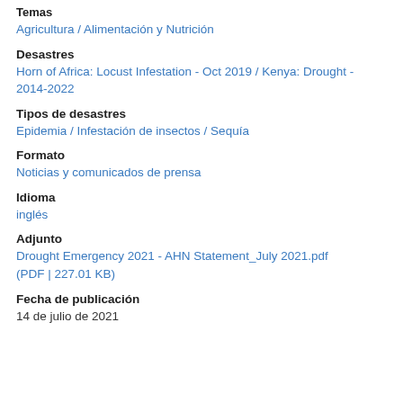Temas
Agricultura  /  Alimentación y Nutrición
Desastres
Horn of Africa: Locust Infestation - Oct 2019  /  Kenya: Drought - 2014-2022
Tipos de desastres
Epidemia  /  Infestación de insectos  /  Sequía
Formato
Noticias y comunicados de prensa
Idioma
inglés
Adjunto
Drought Emergency 2021 - AHN Statement_July 2021.pdf (PDF | 227.01 KB)
Fecha de publicación
14 de julio de 2021